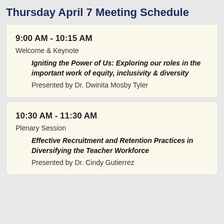Thursday April 7 Meeting Schedule
9:00 AM - 10:15 AM
Welcome & Keynote
Igniting the Power of Us: Exploring our roles in the important work of equity, inclusivity & diversity
Presented by Dr. Dwinita Mosby Tyler
10:30 AM - 11:30 AM
Plenary Session
Effective Recruitment and Retention Practices in Diversifying the Teacher Workforce
Presented by Dr. Cindy Gutierrez